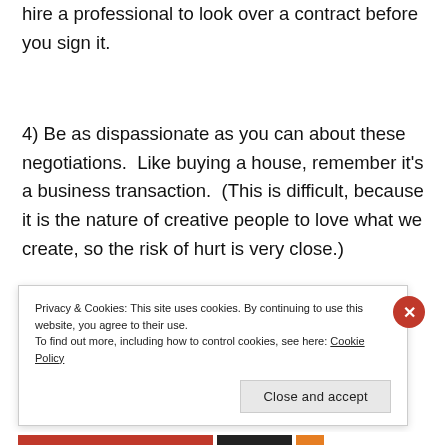hire a professional to look over a contract before you sign it.
4) Be as dispassionate as you can about these negotiations.  Like buying a house, remember it's a business transaction.  (This is difficult, because it is the nature of creative people to love what we create, so the risk of hurt is very close.)
Privacy & Cookies: This site uses cookies. By continuing to use this website, you agree to their use.
To find out more, including how to control cookies, see here: Cookie Policy